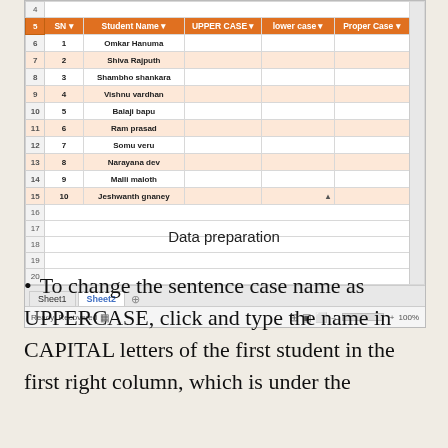[Figure (screenshot): Screenshot of Microsoft Excel spreadsheet (Sheet2) showing a table with columns SN, Student Name, UPPER CASE, lower case, Proper Case. Rows 6-15 contain 10 student names: Omkar Hanuma, Shiva Rajputh, Shambho shankara, Vishnu vardhan, Balaji bapu, Ram prasad, Somu veru, Narayana dev, Malli maloth, Jeshwanth gnaney. Rows 16-20 are empty. Sheet tabs show Sheet1 and Sheet2 (active).]
Data preparation
To change the sentence case name as UPPERCASE, click and type the name in CAPITAL letters of the first student in the first right column, which is under the